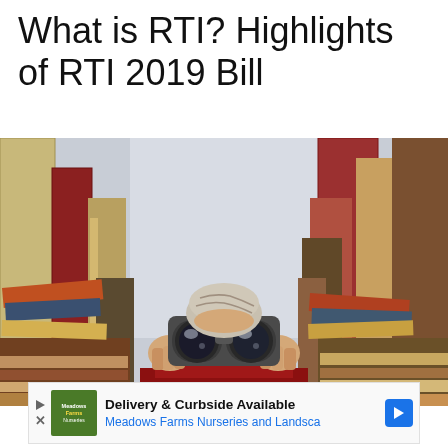What is RTI? Highlights of RTI 2019 Bill
[Figure (photo): A person looking through binoculars, surrounded by tall stacks of books on both sides. The perspective is low angle looking up at the person's face holding large black binoculars, with stacks of various colored books arranged like walls on the left and right.]
Delivery & Curbside Available
Meadows Farms Nurseries and Landsca